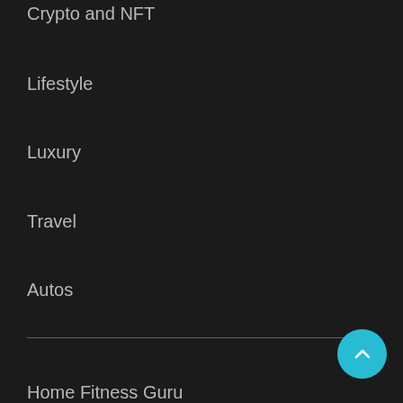Crypto and NFT
Lifestyle
Luxury
Travel
Autos
Arts
Fashion Videos
Music Videos
Home Fitness Guru